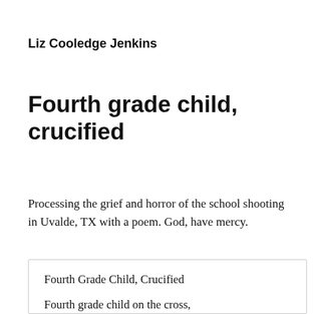Liz Cooledge Jenkins
Fourth grade child, crucified
Processing the grief and horror of the school shooting in Uvalde, TX with a poem. God, have mercy.
Fourth Grade Child, Crucified

Fourth grade child on the cross,
did not deserve this...